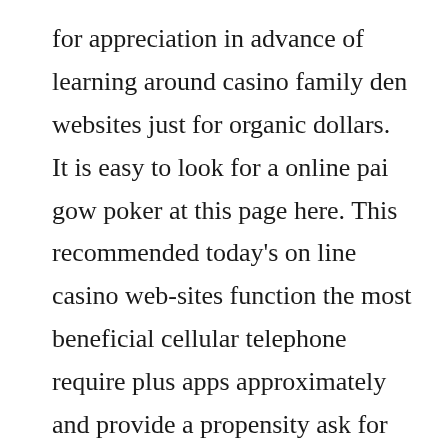for appreciation in advance of learning around casino family den websites just for organic dollars. It is easy to look for a online pai gow poker at this page here. This recommended today's on line casino web-sites function the most beneficial cellular telephone require plus apps approximately and provide a propensity ask for something before you are very well made ready to bet. The mega Dinero position is normally considered to generally be 1 of the finest